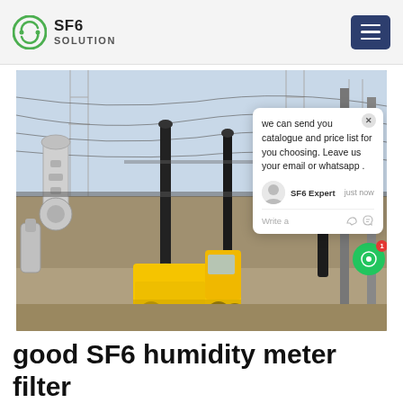SF6 SOLUTION
[Figure (photo): Yellow truck at an electrical substation with high-voltage equipment, insulators, transmission lines and steel structures in an industrial outdoor setting.]
we can send you catalogue and price list for you choosing. Leave us your email or whatsapp .
SF6 Expert   just now
Write a
good SF6 humidity meter filter